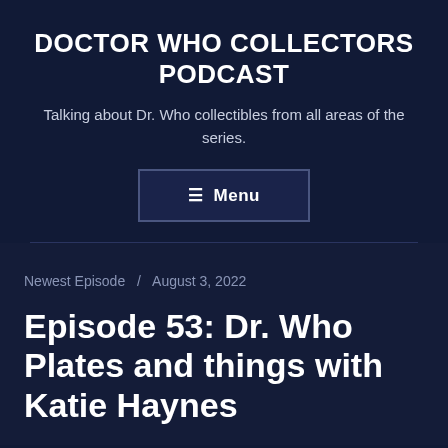DOCTOR WHO COLLECTORS PODCAST
Talking about Dr. Who collectibles from all areas of the series.
≡ Menu
Newest Episode / August 3, 2022
Episode 53: Dr. Who Plates and things with Katie Haynes